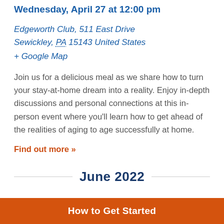Wednesday, April 27 at 12:00 pm
Edgeworth Club, 511 East Drive Sewickley, PA 15143 United States
+ Google Map
Join us for a delicious meal as we share how to turn your stay-at-home dream into a reality. Enjoy in-depth discussions and personal connections at this in-person event where you'll learn how to get ahead of the realities of aging to age successfully at home.
Find out more »
June 2022
How to Get Started